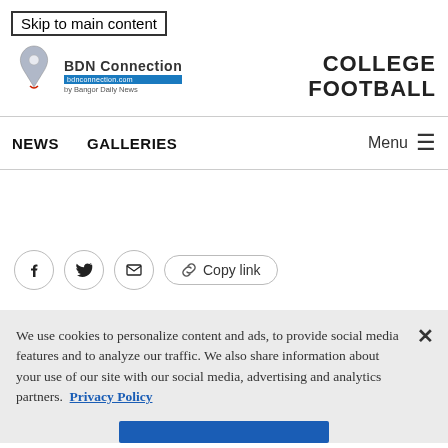Skip to main content
[Figure (logo): BDN Connection logo with map icon and blue banner tagline]
COLLEGE FOOTBALL
NEWS   GALLERIES   Menu ☰
[Figure (infographic): Social share buttons: Facebook, Twitter, Email icons and Copy link button]
We use cookies to personalize content and ads, to provide social media features and to analyze our traffic. We also share information about your use of our site with our social media, advertising and analytics partners. Privacy Policy